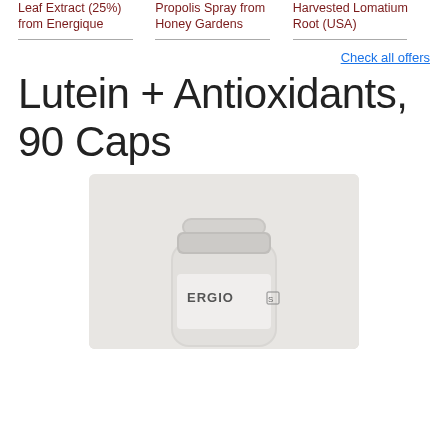Leaf Extract (25%) from Energique
Propolis Spray from Honey Gardens
Harvested Lomatium Root (USA)
Check all offers
Lutein + Antioxidants, 90 Caps
[Figure (photo): White plastic supplement bottle with cap, labeled with partial text ERGIO and S, on a light grey background]